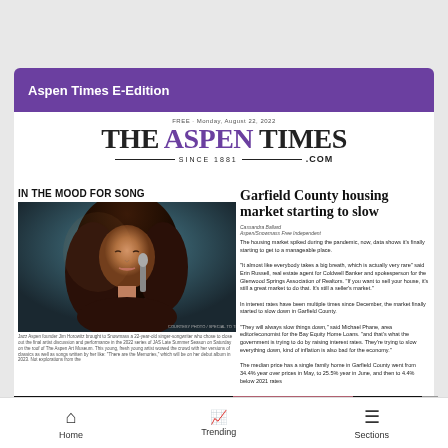Aspen Times E-Edition
THE ASPEN TIMES SINCE 1881 .COM
FREE · Monday, August 22, 2022
IN THE MOOD FOR SONG
[Figure (photo): Young female singer performing at microphone, dramatic warm lighting]
Jazz Aspen founder Jim Horowitz brought to Snowmass a 22-year-old singer-songwriter who chose to close out the final artist discussion and performance in the 2022 series of JAS Late Summer Season on Saturday on the roof of The Aspen Art Museum. This young, fresh young artist wowed the crowd with her versions of classics as well as songs written by her like: 'There are the Memories,' which will be on her debut album in 2023. Her explorations from the
Garfield County housing market starting to slow
Cassandra Ballard
Aspen/Snowmass Free Independent
The housing market spiked during the pandemic, now, data shows it's finally starting to get to a manageable place.
"It almost like everybody takes a big breath, which is actually very rare" said Erin Russell, real estate agent for Coldwell Banker and spokesperson for the Glenwood Springs Association of Realtors. "If you want to sell your house, it's still a great market to do that. It's still a seller's market."
In interest rates have been multiple times since December, the market finally started to slow down in Garfield County.
"They will always slow things down," said Michael Phane, area editor/economist for the Bay Equity Home Loans. "and that's what the government is trying to do by raising interest rates. They're trying to slow everything down, kind of inflation is also bad for the economy."
The median price has a single family home in Garfield County went from 34.4% year over prices in May, to 25.5% year in June, and then to 4.4% below 2021 rates
[Figure (photo): Macy's advertisement showing close-up of woman's lips with red lipstick]
KISS BORING LIPS GOODBYE
SHOP NOW
macy's
Home | Trending | Sections